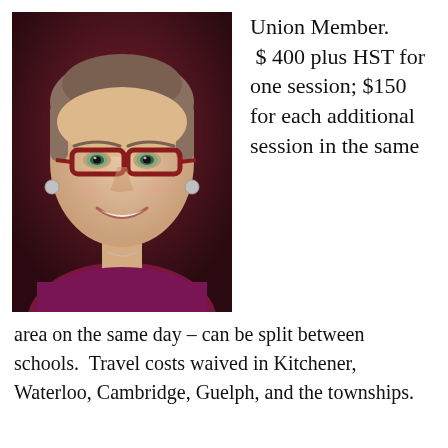[Figure (photo): Headshot of a smiling woman with short hair, red-rimmed glasses, wearing a purple top, against a blurred dark red background.]
Union Member. $ 400 plus HST for one session; $150 for each additional session in the same area on the same day – can be split between schools. Travel costs waived in Kitchener, Waterloo, Cambridge, Guelph, and the townships.